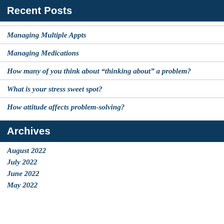Recent Posts
Managing Multiple Appts
Managing Medications
How many of you think about “thinking about” a problem?
What is your stress sweet spot?
How attitude affects problem-solving?
Archives
August 2022
July 2022
June 2022
May 2022